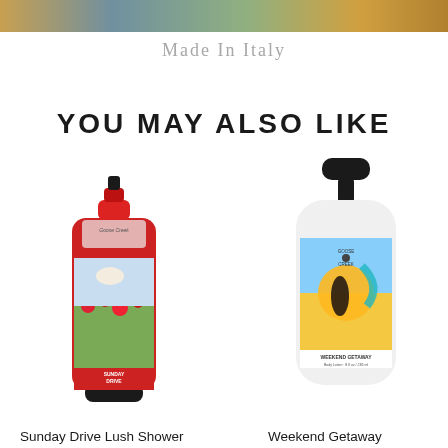[Figure (photo): Top banner image showing scenic Italian landscape]
Made In Italy
YOU MAY ALSO LIKE
[Figure (photo): Sunday Drive Lush Shower Gel product bottle by Goose Creek, red tube with floral design]
[Figure (photo): Weekend Getaway product bottle by Goose Creek, white bottle with beach scene]
Sunday Drive Lush Shower
Weekend Getaway